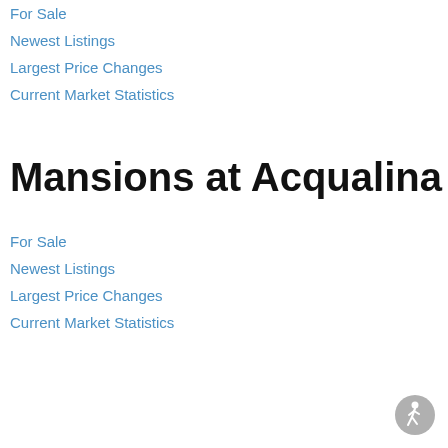For Sale
Newest Listings
Largest Price Changes
Current Market Statistics
Mansions at Acqualina
For Sale
Newest Listings
Largest Price Changes
Current Market Statistics
[Figure (illustration): Accessibility icon: circular grey badge with white human figure walking]